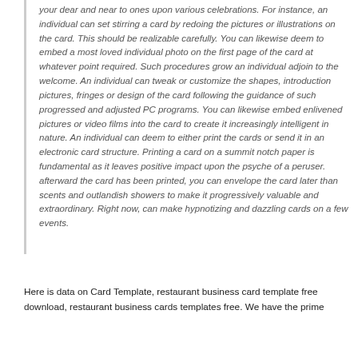your dear and near to ones upon various celebrations. For instance, an individual can set stirring a card by redoing the pictures or illustrations on the card. This should be realizable carefully. You can likewise deem to embed a most loved individual photo on the first page of the card at whatever point required. Such procedures grow an individual adjoin to the welcome. An individual can tweak or customize the shapes, introduction pictures, fringes or design of the card following the guidance of such progressed and adjusted PC programs. You can likewise embed enlivened pictures or video films into the card to create it increasingly intelligent in nature. An individual can deem to either print the cards or send it in an electronic card structure. Printing a card on a summit notch paper is fundamental as it leaves positive impact upon the psyche of a peruser. afterward the card has been printed, you can envelope the card later than scents and outlandish showers to make it progressively valuable and extraordinary. Right now, can make hypnotizing and dazzling cards on a few events.
Here is data on Card Template, restaurant business card template free download, restaurant business cards templates free. We have the prime